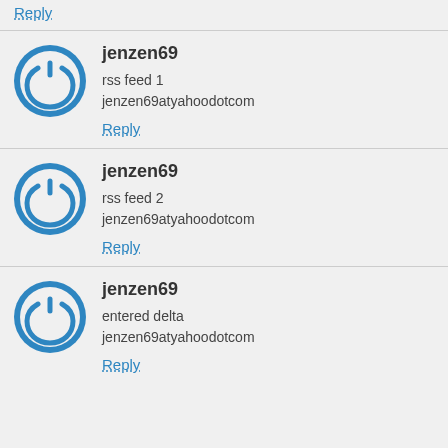Reply
jenzen69
rss feed 1
jenzen69atyahoodotcom
Reply
jenzen69
rss feed 2
jenzen69atyahoodotcom
Reply
jenzen69
entered delta
jenzen69atyahoodotcom
Reply